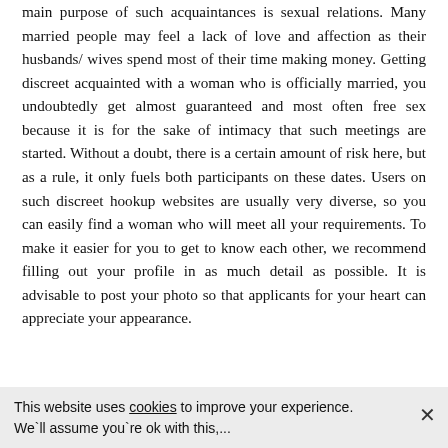main purpose of such acquaintances is sexual relations. Many married people may feel a lack of love and affection as their husbands/ wives spend most of their time making money. Getting discreet acquainted with a woman who is officially married, you undoubtedly get almost guaranteed and most often free sex because it is for the sake of intimacy that such meetings are started. Without a doubt, there is a certain amount of risk here, but as a rule, it only fuels both participants on these dates. Users on such discreet hookup websites are usually very diverse, so you can easily find a woman who will meet all your requirements. To make it easier for you to get to know each other, we recommend filling out your profile in as much detail as possible. It is advisable to post your photo so that applicants for your heart can appreciate your appearance.
This website uses cookies to improve your experience. We`ll assume you`re ok with this,...